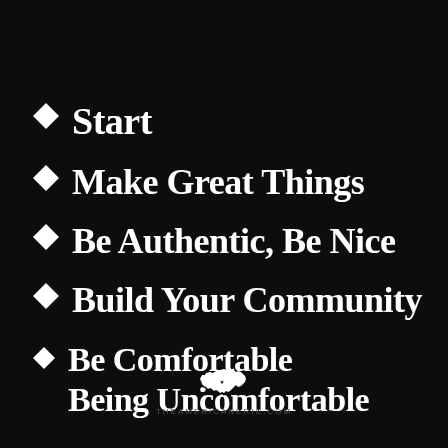✦ Start
✦ Make Great Things
✦ Be Authentic, Be Nice
✦ Build Your Community
✦ Be Comfortable Being Uncomfortable
[Figure (logo): White silhouette of the United States map with a small star, followed by URL theamericaneric.com]
theamericaneric.com